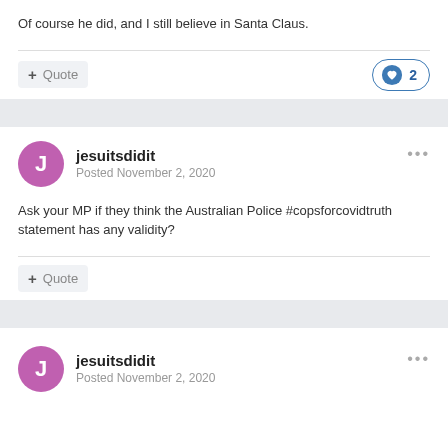Of course he did, and I still believe in Santa Claus.
Quote  2
jesuitsdidit
Posted November 2, 2020
Ask your MP if they think the Australian Police #copsforcovidtruth statement has any validity?
Quote
jesuitsdidit
Posted November 2, 2020